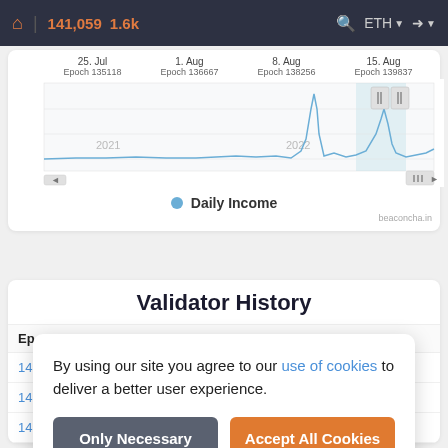🏠 | 141,059  1.6k   [search] ETH▼  ➔▼
[Figure (continuous-plot): Line chart showing Daily Income over time from 2021 to Aug 2022, with date/epoch labels: 25. Jul Epoch 135118, 1. Aug Epoch 136667, 8. Aug Epoch 138256, 15. Aug Epoch 139837. The chart shows mostly flat low values with a spike around Aug 8. Navigation and zoom controls visible.]
● Daily Income
beaconcha.in
Validator History
| Ep |  |  |  |
| --- | --- | --- | --- |
| 14… |  |  |  |
| 14… |  |  |  |
| 141,057 | +0.00001 ETH |  | Att. |
By using our site you agree to our use of cookies to deliver a better user experience.
Only Necessary   Accept All Cookies